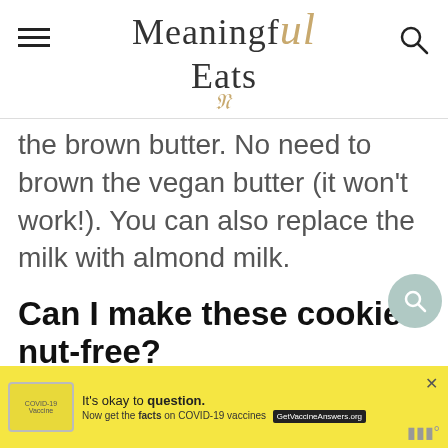Meaningful Eats
the brown butter. No need to brown the vegan butter (it won't work!). You can also replace the milk with almond milk.
Can I make these cookies nut-free?
Yes! To make these cookies nut-free simply substitute the ¼ cup almond flour with an additional ¼ cup gluten-free
[Figure (other): COVID-19 vaccine advertisement banner with yellow background: It's okay to question. Now get the facts on COVID-19 vaccines. GetVaccineAnswers.org]